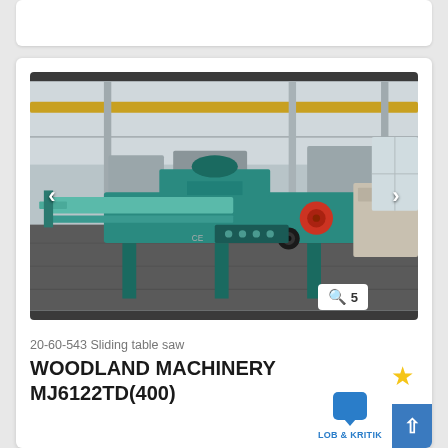[Figure (photo): Sliding table saw machine (WOODLAND MACHINERY MJ6122TD(400)) photographed in a large industrial warehouse with other woodworking machines visible in the background. Machine is teal/green colored.]
20-60-543 Sliding table saw
WOODLAND MACHINERY MJ6122TD(400)